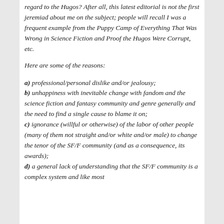regard to the Hugos? After all, this latest editorial is not the first jeremiad about me on the subject; people will recall I was a frequent example from the Puppy Camp of Everything That Was Wrong in Science Fiction and Proof the Hugos Were Corrupt, etc.
Here are some of the reasons:
a) professional/personal dislike and/or jealousy;
b) unhappiness with inevitable change with fandom and the science fiction and fantasy community and genre generally and the need to find a single cause to blame it on;
c) ignorance (willful or otherwise) of the labor of other people (many of them not straight and/or white and/or male) to change the tenor of the SF/F community (and as a consequence, its awards);
d) a general lack of understanding that the SF/F community is a complex system and like most